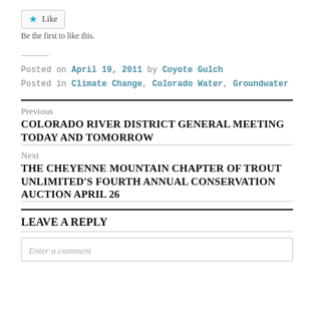[Figure (other): Like button with star icon]
Be the first to like this.
Posted on April 19, 2011 by Coyote Gulch
Posted in Climate Change, Colorado Water, Groundwater
Previous
COLORADO RIVER DISTRICT GENERAL MEETING TODAY AND TOMORROW
Next
THE CHEYENNE MOUNTAIN CHAPTER OF TROUT UNLIMITED'S FOURTH ANNUAL CONSERVATION AUCTION APRIL 26
LEAVE A REPLY